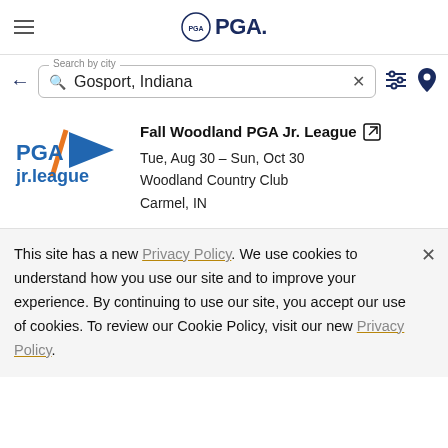PGA
Search by city — Gosport, Indiana
Fall Woodland PGA Jr. League
Tue, Aug 30 – Sun, Oct 30
Woodland Country Club
Carmel, IN
This site has a new Privacy Policy. We use cookies to understand how you use our site and to improve your experience. By continuing to use our site, you accept our use of cookies. To review our Cookie Policy, visit our new Privacy Policy.